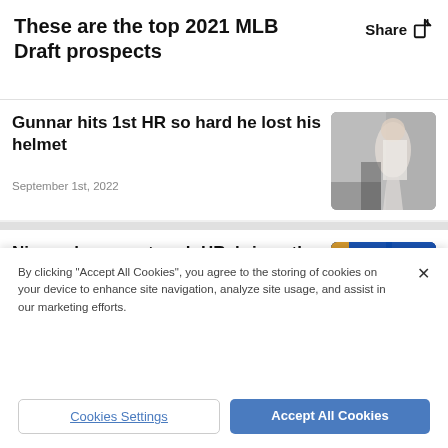These are the top 2021 MLB Draft prospects
Share
Gunnar hits 1st HR so hard he lost his helmet
September 1st, 2022
[Figure (photo): Baseball player running bases, losing helmet]
Nimmo leaps up to rob HR, brings the house down
September 1st, 2022
[Figure (photo): Baseball player leaping at wall with DAL text visible]
By clicking "Accept All Cookies", you agree to the storing of cookies on your device to enhance site navigation, analyze site usage, and assist in our marketing efforts.
Cookies Settings
Accept All Cookies